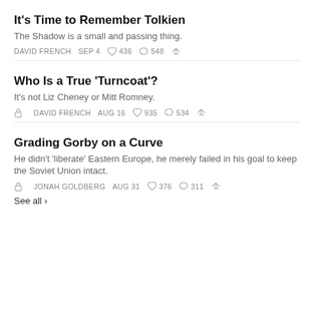It's Time to Remember Tolkien
The Shadow is a small and passing thing.
DAVID FRENCH   SEP 4   436   548
Who Is a True ‘Turncoat’?
It’s not Liz Cheney or Mitt Romney.
DAVID FRENCH   AUG 16   935   534
Grading Gorby on a Curve
He didn’t ‘liberate’ Eastern Europe, he merely failed in his goal to keep the Soviet Union intact.
JONAH GOLDBERG   AUG 31   376   311
See all ›